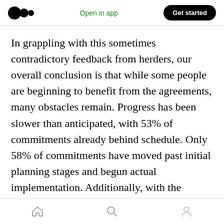Open in app | Get started
In grappling with this sometimes contradictory feedback from herders, our overall conclusion is that while some people are beginning to benefit from the agreements, many obstacles remain. Progress has been slower than anticipated, with 53% of commitments already behind schedule. Only 58% of commitments have moved past initial planning stages and begun actual implementation. Additionally, with the closure of the CAO's monitoring role, the TPC will no longer be able to rely on the CAO's support to help keep
Home | Search | Profile